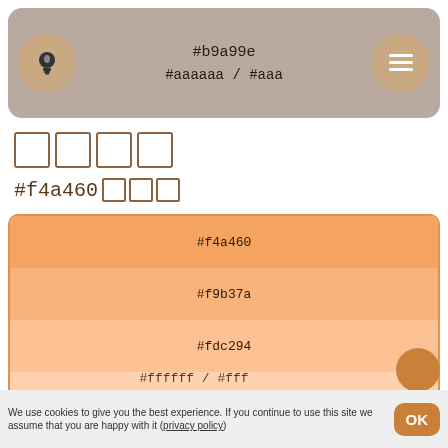#b9a99e / #aaaaaa / #aaa
□□□□
#f4a460□□□
[Figure (infographic): Color palette swatches for #f4a460 sandy brown color, showing 6 tints from darkest (#f4a460) to lightest (#fff0e4)]
#ffffff / #fff
We use cookies to give you the best experience. If you continue to use this site we assume that you are happy with it (privacy policy)